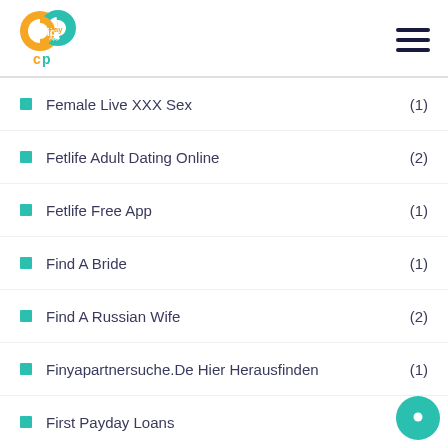Carib Pay App
Female Live XXX Sex (1)
Fetlife Adult Dating Online (2)
Fetlife Free App (1)
Find A Bride (1)
Find A Russian Wife (2)
Finyapartnersuche.De Hier Herausfinden (1)
First Payday Loans (4)
FirstMet Dating Site (1)
Firstmet Reviews (1)
Firstmet Search (1)
Finde Kenaf Gems Jo... (1)